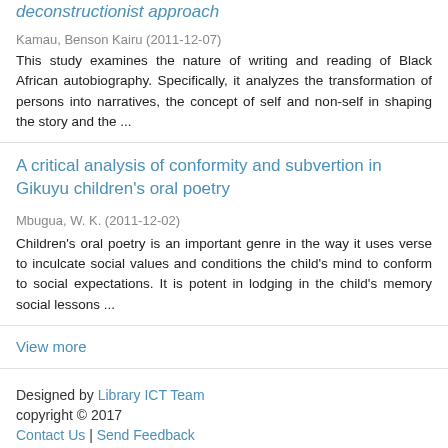deconstructionist approach
Kamau, Benson Kairu (2011-12-07)
This study examines the nature of writing and reading of Black African autobiography. Specifically, it analyzes the transformation of persons into narratives, the concept of self and non-self in shaping the story and the ...
A critical analysis of conformity and subvertion in Gikuyu children's oral poetry
Mbugua, W. K. (2011-12-02)
Children's oral poetry is an important genre in the way it uses verse to inculcate social values and conditions the child's mind to conform to social expectations. It is potent in lodging in the child's memory social lessons ...
View more
Designed by Library ICT Team
copyright © 2017
Contact Us | Send Feedback